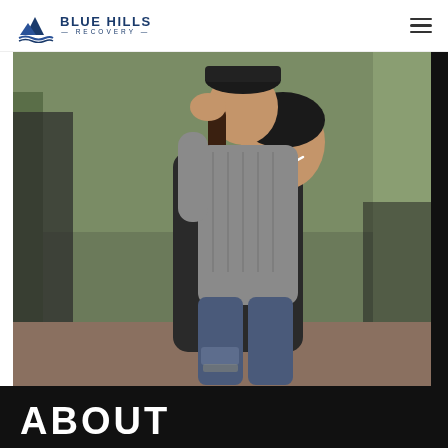[Figure (logo): Blue Hills Recovery logo with mountain/wave icon and text]
[Figure (photo): A smiling man giving a woman a piggyback ride outdoors, both wearing casual grey clothing]
ABOUT